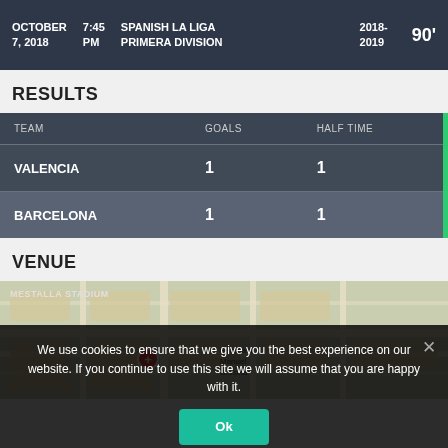OCTOBER 7, 2018   7:45 PM   SPANISH LA LIGA PRIMERA DIVISION   2018-2019   90'
RESULTS
| TEAM | GOALS | HALF TIME |
| --- | --- | --- |
| VALENCIA | 1 | 1 |
| BARCELONA | 1 | 1 |
VENUE
[Figure (map): Map showing Mestalla Stadium location in Valencia, Spain]
We use cookies to ensure that we give you the best experience on our website. If you continue to use this site we will assume that you are happy with it.